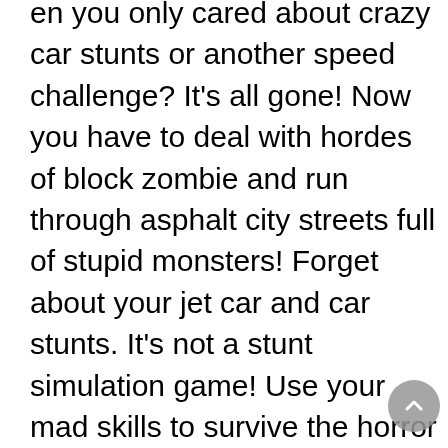en you only cared about crazy car stunts or another speed challenge? It's all gone! Now you have to deal with hordes of block zombie and run through asphalt city streets full of stupid monsters! Forget about your jet car and car stunts. It's not a stunt simulation game! Use your mad skills to survive the horror in an epic city escape from a real danger zone. Think you've seen all racing action games out there? You're wrong - at least until you played our zombie traffic racer game - new version! Zombie death race off to start - craft cars, upgrades and survive!Thanks to your car mechanic, you have a plenty of racing cars to choose from. Become a traffic racer in car, truck, bus, 4x4 jeep racer or even a monster truck! Jump into fast craft mode and enhance your extreme city car with nitro and other fancy upgrades! It's a survival game, but it's not one of those zombie car games when you're left for dead - keep your eyes on the ball. Taking part in zombie invasion wasn't a dream of professional car jumper, but with your mad skills, fast city cars and plenty of options to